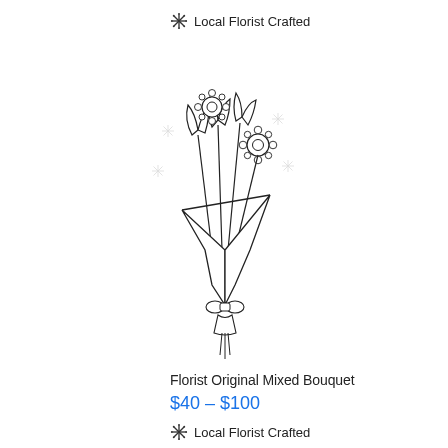❄ Local Florist Crafted
[Figure (illustration): Line drawing illustration of a flower bouquet wrapped in paper, featuring sunflowers, tulips, and small daisy-like flowers with decorative snowflake accents, tied with a ribbon at the stem.]
Florist Original Mixed Bouquet
$40 – $100
❄ Local Florist Crafted